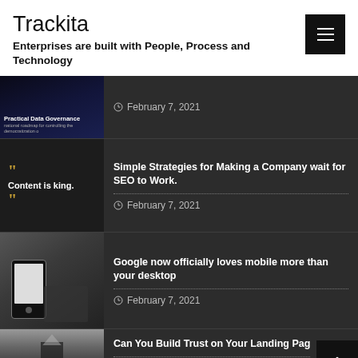Trackita
Enterprises are built with People, Process and Technology
February 7, 2021
Simple Strategies for Making a Company wait for SEO to Work. — February 7, 2021
Google now officially loves mobile more than your desktop — February 7, 2021
Can You Build Trust on Your Landing Pag— February 6, 2021